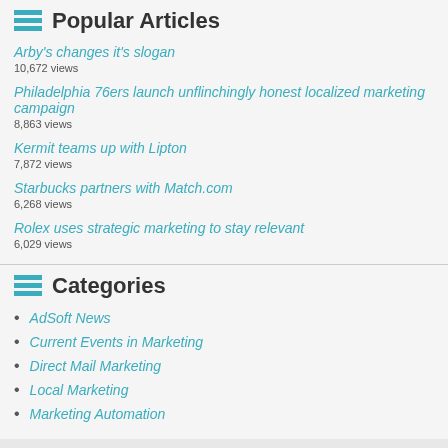Popular Articles
Arby's changes it's slogan
10,672 views
Philadelphia 76ers launch unflinchingly honest localized marketing campaign
8,863 views
Kermit teams up with Lipton
7,872 views
Starbucks partners with Match.com
6,268 views
Rolex uses strategic marketing to stay relevant
6,029 views
Categories
AdSoft News
Current Events in Marketing
Direct Mail Marketing
Local Marketing
Marketing Automation